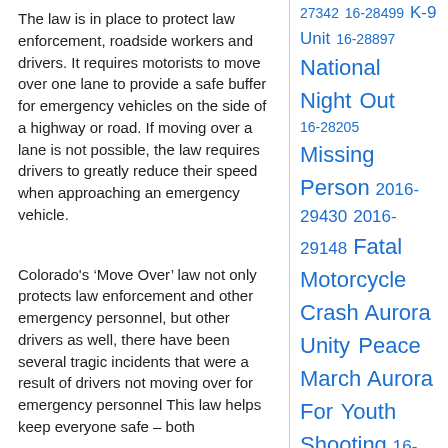The law is in place to protect law enforcement, roadside workers and drivers. It requires motorists to move over one lane to provide a safe buffer for emergency vehicles on the side of a highway or road. If moving over a lane is not possible, the law requires drivers to greatly reduce their speed when approaching an emergency vehicle.
Colorado's ‘Move Over’ law not only protects law enforcement and other emergency personnel, but other drivers as well, there have been several tragic incidents that were a result of drivers not moving over for emergency personnel This law helps keep everyone safe – both
27342 16-28499 K-9 Unit 16-28897 National Night Out 16-28205 Missing Person 2016-29430 2016-29148 Fatal Motorcycle Crash Aurora Unity Peace March Aurora For Youth Shooting 16-30068 SVU permits fees Amber Alert 16-31424 16-